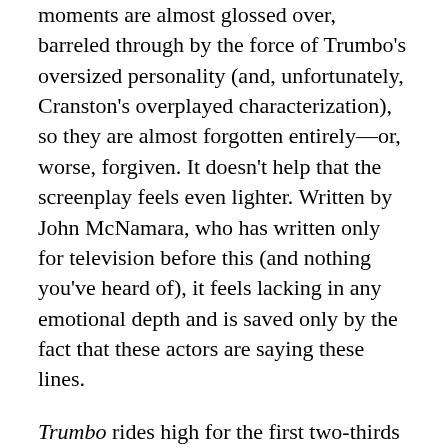the war, and prison and family destitution, and these moments are almost glossed over, barreled through by the force of Trumbo's oversized personality (and, unfortunately, Cranston's overplayed characterization), so they are almost forgotten entirely—or, worse, forgiven. It doesn't help that the screenplay feels even lighter. Written by John McNamara, who has written only for television before this (and nothing you've heard of), it feels lacking in any emotional depth and is saved only by the fact that these actors are saying these lines.
Trumbo rides high for the first two-thirds of the movie, on the strength of the overdue-to-be-told story and the high-energy performances, but, unfortunately, the lack of depth of talent behind the camera catches up to it as the momentum slows painfully just past the midway point. But, still, despite an overly breezy and lightweight telling, Trumbo is a tale deserving to be heard and, while far from perfect, it's one worth your time.